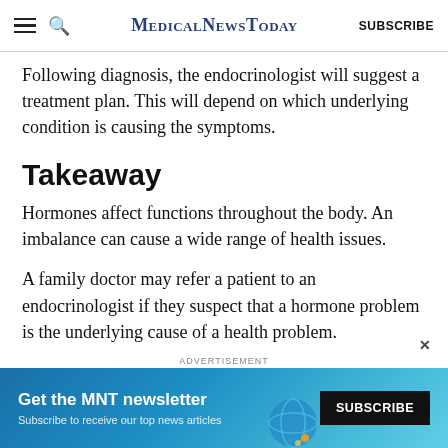MedicalNewsToday SUBSCRIBE
Following diagnosis, the endocrinologist will suggest a treatment plan. This will depend on which underlying condition is causing the symptoms.
Takeaway
Hormones affect functions throughout the body. An imbalance can cause a wide range of health issues.
A family doctor may refer a patient to an endocrinologist if they suspect that a hormone problem is the underlying cause of a health problem.
If you need to find an endocrinologist, the website of
[Figure (screenshot): Advertisement banner for MNT newsletter with 'Get the MNT newsletter' text and SUBSCRIBE button]